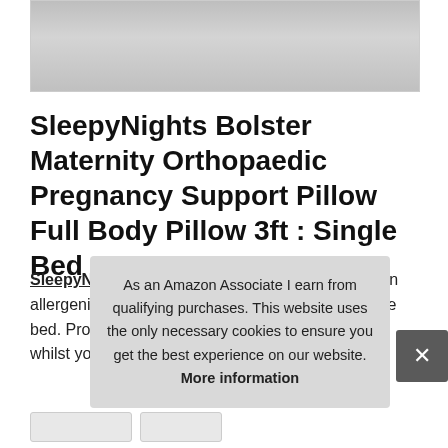[Figure (photo): Partial product photo of white pillow against light background, bottom portion visible]
SleepyNights Bolster Maternity Orthopaedic Pregnancy Support Pillow Full Body Pillow 3ft : Single Bed
SleepyNights - Perfect to hug during the night. Non allergenic hollowfibre filling. Will fit across the single bed. Provides additional support all over the body whilst you sleep. Blended soft
As an Amazon Associate I earn from qualifying purchases. This website uses the only necessary cookies to ensure you get the best experience on our website. More information